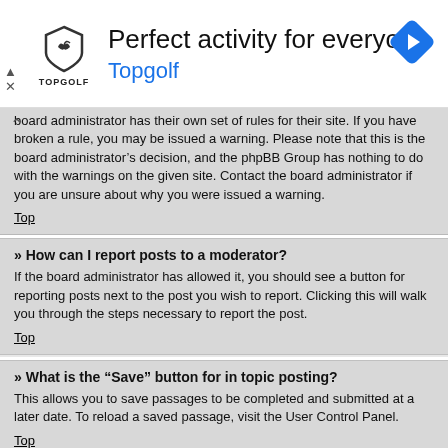[Figure (other): Topgolf advertisement banner with logo, headline 'Perfect activity for everyone', subline 'Topgolf', and a blue navigation arrow icon on the right.]
board administrator has their own set of rules for their site. If you have broken a rule, you may be issued a warning. Please note that this is the board administrator's decision, and the phpBB Group has nothing to do with the warnings on the given site. Contact the board administrator if you are unsure about why you were issued a warning.
Top
» How can I report posts to a moderator?
If the board administrator has allowed it, you should see a button for reporting posts next to the post you wish to report. Clicking this will walk you through the steps necessary to report the post.
Top
» What is the “Save” button for in topic posting?
This allows you to save passages to be completed and submitted at a later date. To reload a saved passage, visit the User Control Panel.
Top
» Why does my post need to be approved?